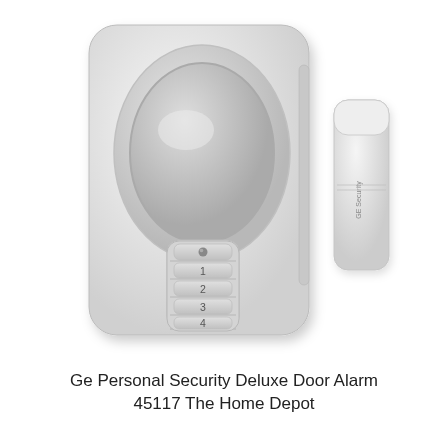[Figure (photo): A white GE Personal Security Deluxe Door Alarm unit with an oval speaker grille on the front and a keypad with buttons labeled 1, 2, 3, 4 below it, plus a small round LED indicator. To the right is a smaller white magnetic sensor/contact piece. The product is shown on a white background.]
Ge Personal Security Deluxe Door Alarm 45117 The Home Depot